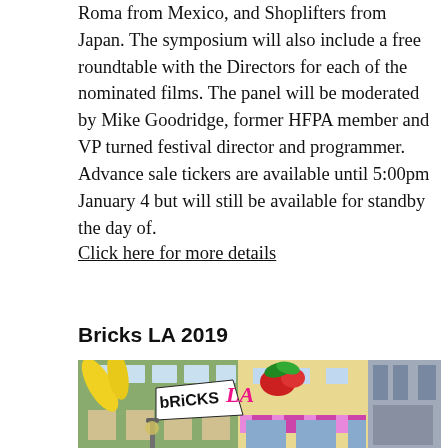Roma from Mexico, and Shoplifters from Japan. The symposium will also include a free roundtable with the Directors for each of the nominated films. The panel will be moderated by Mike Goodridge, former HFPA member and VP turned festival director and programmer. Advance sale tickers are available until 5:00pm January 4 but will still be available for standby the day of.
Click here for more details
Bricks LA 2019
[Figure (photo): Photo of a LEGO city scene with the Bricks LA logo overlaid. Shows colorful LEGO building facades with awnings, flowers, and street elements.]